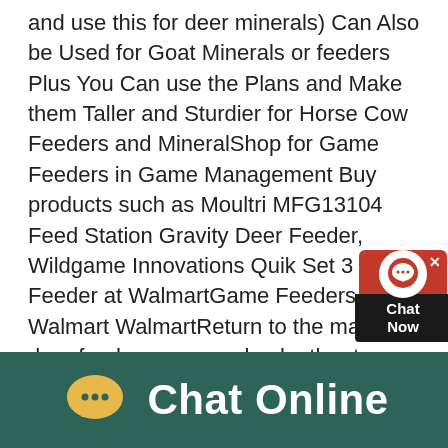and use this for deer minerals) Can Also be Used for Goat Minerals or feeders Plus You Can use the Plans and Make them Taller and Sturdier for Horse Cow Feeders and MineralShop for Game Feeders in Game Management Buy products such as Moultri MFG13104 Feed Station Gravity Deer Feeder, Wildgame Innovations Quik Set 3 Gal Feeder at WalmartGame Feeders Walmart WalmartReturn to the main deer feeder page, or check other types of homemade deer feeder plans Homemade Deer Feeder Homepage PVC Type Deer Feeders Bucket or Barrel Type Deer Feeders Automatic Deer Feeders This is part of an article written by John Grant that talks about building a trough style deer feederDeer Feeder Trough Type
[Figure (screenshot): Chat Now widget popup with red header, white chat icon circle, and dark 'Chat Now' label]
[Figure (photo): Partial image strip visible at bottom of main content area]
[Figure (infographic): Dark teal bottom banner with yellow speech bubble icon and white 'Chat Online' text]